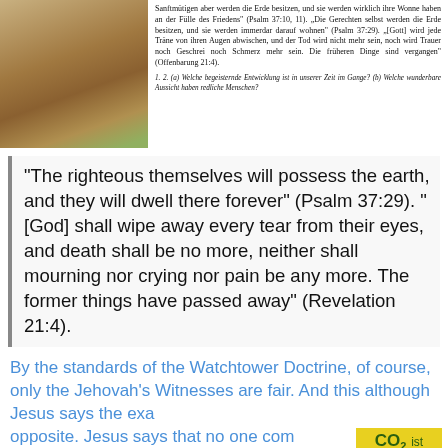[Figure (photo): Photo of a person petting or touching an animal (possibly a cow or dog) outdoors on grass.]
Sanftmütigen aber werden die Erde besitzen, und sie werden wirklich ihre Wonne haben an der Fülle des Friedens" (Psalm 37:10, 11). „Die Gerechten selbst werden die Erde besitzen, und sie werden immerdar darauf wohnen" (Psalm 37:29). „[Gott] wird jede Träne von ihren Augen abwischen, und der Tod wird nicht mehr sein, noch wird Trauer noch Geschrei noch Schmerz mehr sein. Die früheren Dinge sind vergangen" (Offenbarung 21:4).
1. 2. (a) Welche begeisternde Entwicklung ist in unserer Zeit im Gange? (b) Welche wunderbare Aussicht haben redliche Menschen?
"The righteous themselves will possess the earth, and they will dwell there forever" (Psalm 37:29). "[God] shall wipe away every tear from their eyes, and death shall be no more, neither shall mourning nor crying nor pain be any more. The former things have passed away" (Revelation 21:4).
By the standards of the Watchtower Doctrine, of course, only the Jehovah's Witnesses are fair. And this although Jesus says the exact opposite. Jesus says that no one comes to the Father except through Him. This does not mean that we have to use Jesus as a prayer (magic).